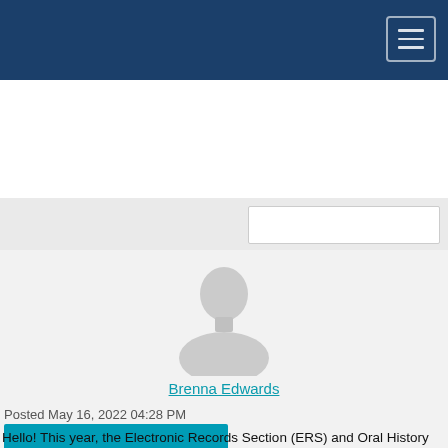[Figure (screenshot): Dark navy navigation bar with hamburger menu button (three horizontal lines) in top-right corner]
[Figure (photo): Generic grey silhouette avatar placeholder image for user Brenna Edwards]
Brenna Edwards
Posted May 16, 2022 04:28 PM
Hello! This year, the Electronic Records Section (ERS) and Oral History